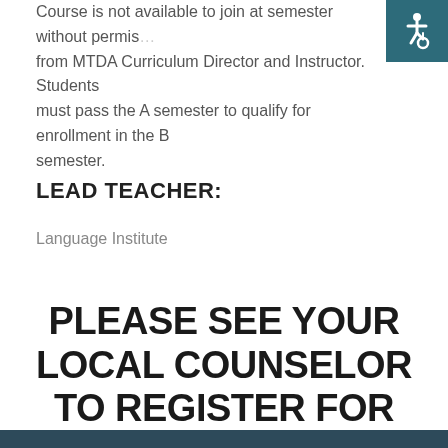Course is not available to join at semester without permission from MTDA Curriculum Director and Instructor. Students must pass the A semester to qualify for enrollment in the B semester.
[Figure (logo): Accessibility icon — white wheelchair symbol on teal/dark blue square background, top right corner]
LEAD TEACHER:
Language Institute
PLEASE SEE YOUR LOCAL COUNSELOR TO REGISTER FOR MTDA COURSES